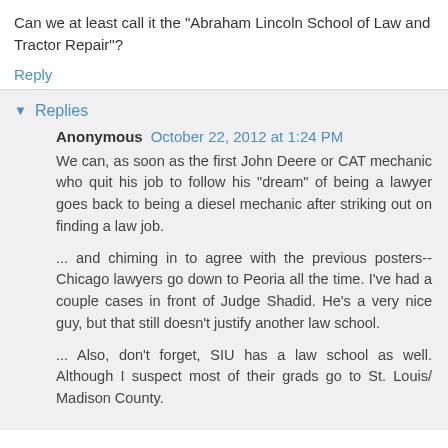Can we at least call it the "Abraham Lincoln School of Law and Tractor Repair"?
Reply
Replies
Anonymous October 22, 2012 at 1:24 PM
We can, as soon as the first John Deere or CAT mechanic who quit his job to follow his "dream" of being a lawyer goes back to being a diesel mechanic after striking out on finding a law job.
... and chiming in to agree with the previous posters-- Chicago lawyers go down to Peoria all the time. I've had a couple cases in front of Judge Shadid. He's a very nice guy, but that still doesn't justify another law school.
... Also, don't forget, SIU has a law school as well. Although I suspect most of their grads go to St. Louis/ Madison County.